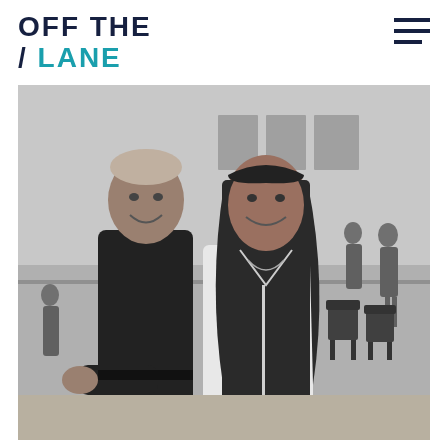OFF THE / LANE
[Figure (photo): Black and white photo of two people standing together in a ballet studio. On the left is a tall man wearing a black shirt and dark jeans, smiling. On the right is a woman with long dark hair wearing a white blouse, also smiling. In the background are ballet dancers at a barre and framed photos on the wall.]